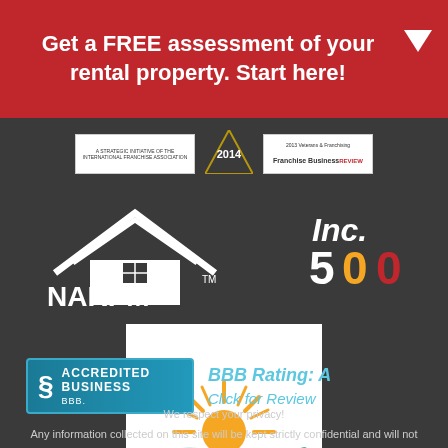Get a FREE assessment of your rental property. Start here!
[Figure (logo): A Strategic Initiative of the International Franchise Association logo (white background)]
[Figure (logo): 2014 badge/diamond shape]
[Figure (logo): 2013 Veterans & Franchising Franchise Business Review badge]
[Figure (logo): NARPM house logo with TM mark]
[Figure (logo): Inc. 500 logo with colored numbers]
[Figure (logo): Sunrise/water illustration logo on white background]
[Figure (logo): BBB Accredited Business badge]
BBB Rating: A
Click for Review
We respect your privacy!
Any information collected on this site will be kept strictly confidential and will not